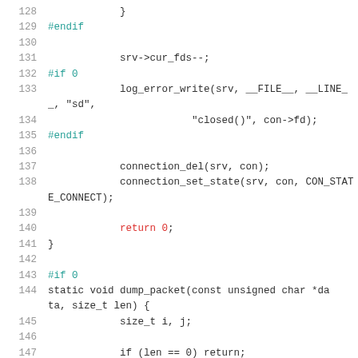[Figure (screenshot): Source code listing lines 128-147 with syntax highlighting. Line numbers in gray, preprocessor directives in cyan, keywords/return values in red, regular code in dark gray.]